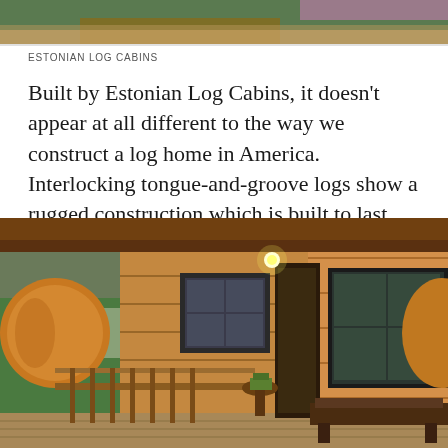[Figure (photo): Partial top strip of a log cabin exterior with foliage and flowers visible]
ESTONIAN LOG CABINS
Built by Estonian Log Cabins, it doesn't appear at all different to the way we construct a log home in America. Interlocking tongue-and-groove logs show a rugged construction which is built to last.
[Figure (photo): Covered front porch of a log cabin showing round log columns, tongue-and-groove log walls, wooden railing, small window with dark frame, a porch light, potted plant on a small table, a wooden bench, green lawn visible in background]